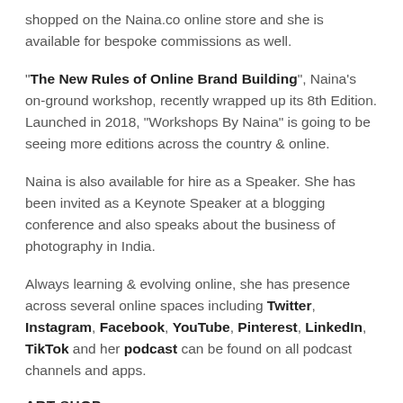shopped on the Naina.co online store and she is available for bespoke commissions as well.
"The New Rules of Online Brand Building", Naina's on-ground workshop, recently wrapped up its 8th Edition. Launched in 2018, "Workshops By Naina" is going to be seeing more editions across the country & online.
Naina is also available for hire as a Speaker. She has been invited as a Keynote Speaker at a blogging conference and also speaks about the business of photography in India.
Always learning & evolving online, she has presence across several online spaces including Twitter, Instagram, Facebook, YouTube, Pinterest, LinkedIn, TikTok and her podcast can be found on all podcast channels and apps.
ART SHOP